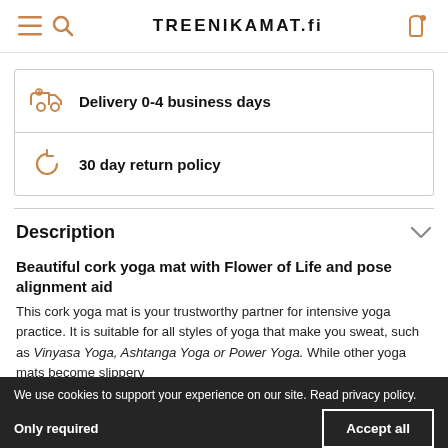TREENIKAMAT.fi
Delivery 0-4 business days
30 day return policy
Description
Beautiful cork yoga mat with Flower of Life and pose alignment aid
This cork yoga mat is your trustworthy partner for intensive yoga practice. It is suitable for all styles of yoga that make you sweat, such as Vinyasa Yoga, Ashtanga Yoga or Power Yoga. While other yoga mats become slippery...
We use cookies to support your experience on our site. Read privacy policy.
Only required    Accept all